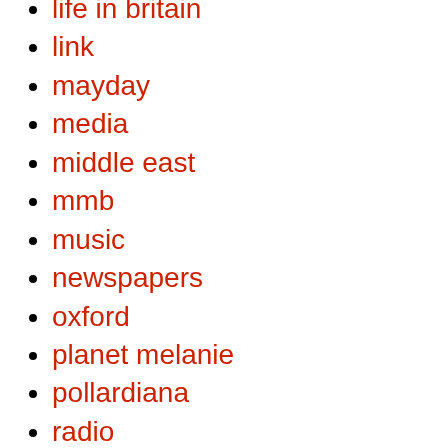life in britain
link
mayday
media
middle east
mmb
music
newspapers
oxford
planet melanie
pollardiana
radio
religion
royals
rugby
serials